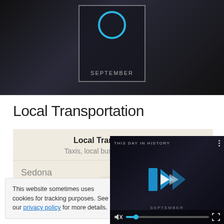[Figure (screenshot): Dark background with a calendar widget showing a blue circle and 'SEPTEMBER' text, people in background]
Local Transportation
|  | Sedona | Santa Fe |
| --- | --- | --- |
| Local Transportation
Taxis, local buses, subway, etc. | $32 | $49 |
This website sometimes uses cookies for tracking purposes. See our privacy policy for more details.
[Figure (screenshot): Video player overlay showing 'THIS DAY IN HISTORY' with blue play button icons and video controls including mute, seek bar, and fullscreen]